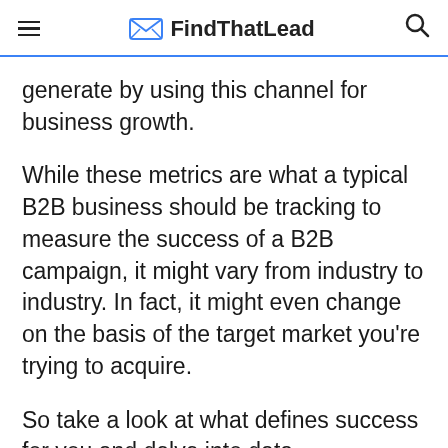FindThatLead
generate by using this channel for business growth.
While these metrics are what a typical B2B business should be tracking to measure the success of a B2B campaign, it might vary from industry to industry. In fact, it might even change on the basis of the target market you're trying to acquire.
So take a look at what defines success for you and delve into data.
It's important to keep your lead generation